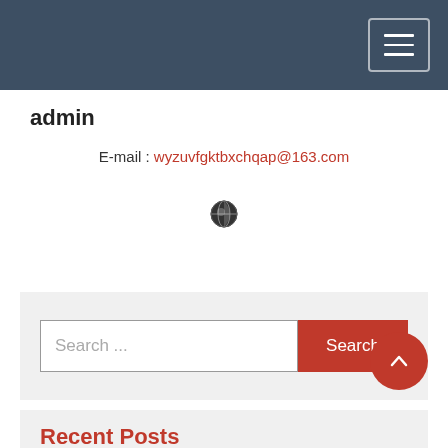admin
E-mail : wyzuvfgktbxchqap@163.com
[Figure (illustration): Globe icon]
[Figure (screenshot): Search bar with text input placeholder 'Search ...' and a red Search button]
Recent Posts